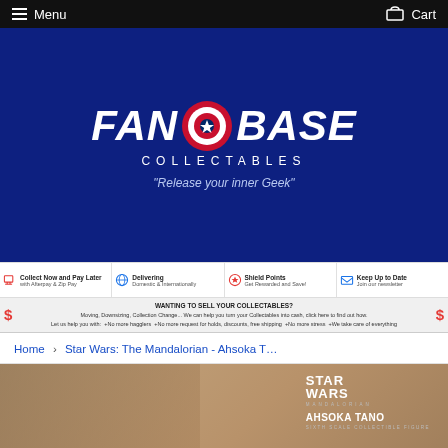Menu   Cart
[Figure (logo): Fan Base Collectables logo on dark blue background with Captain America shield motif. Text: FAN BASE COLLECTABLES - Release your inner Geek]
Collect Now and Pay Later with Afterpay & Zip Pay | Delivering Domestic & Internationally | Shield Points Get Rewarded and Save! | Keep Up to Date Join our newsletter
WANTING TO SELL YOUR COLLECTABLES? Moving, Downsizing, Collection Change... We can help you turn your Collectables into cash, click here to find out how. Let us help you with: + No more hagglers + No more request for holds, discounts, free shipping + No more stress + We take care of everything
Home › Star Wars: The Mandalorian - Ahsoka T...
[Figure (photo): Partial product image showing Star Wars The Mandalorian Ahsoka Tano Sixth Scale Collectible Figure box art on a tan/brown background]